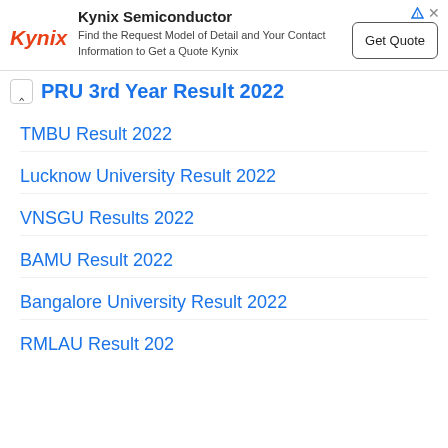[Figure (other): Kynix Semiconductor advertisement banner with logo, description text, and Get Quote button]
PRU 3rd Year Result 2022
TMBU Result 2022
Lucknow University Result 2022
VNSGU Results 2022
BAMU Result 2022
Bangalore University Result 2022
RMLAU Result 202